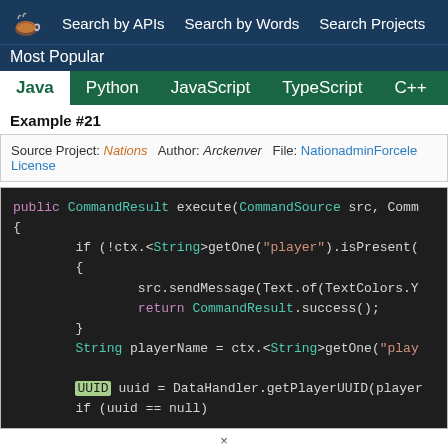Search by APIs   Search by Words   Search Projects
Most Popular
Java  Python  JavaScript  TypeScript  C++  Scala
Example #21
Source Project: Nations   Author: Arckenver   File: NationadminForcele...   License
public CommandResult execute(CommandSource src, Comm...
{
        if (!ctx.<String>getOne("player").isPresent(
        {
                src.sendMessage(Text.of(TextColors.Y
                return CommandResult.success();
        }
        String playerName = ctx.<String>getOne("play

        UUID uuid = DataHandler.getPlayerUUID(player
        if (uuid == null)